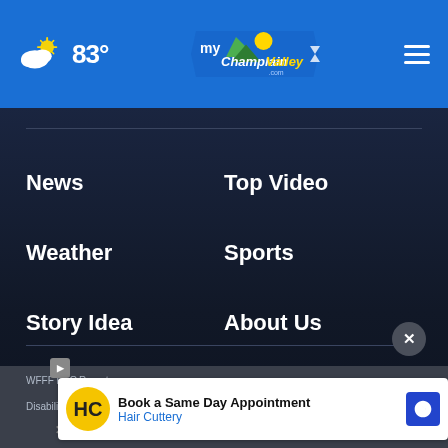83° myChamplainValley.com
News
Top Video
Weather
Sports
Story Idea
About Us
Advertise with Us
WVNY & WFFF Closed Captioning Information
WFFF EEO Report
Disability Assistance for Public File
WFFF Public File
[Figure (screenshot): Ad banner: Hair Cuttery - Book a Same Day Appointment]